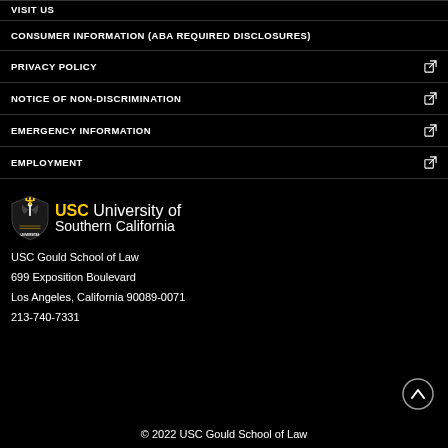VISIT US
CONSUMER INFORMATION (ABA REQUIRED DISCLOSURES)
PRIVACY POLICY
NOTICE OF NON-DISCRIMINATION
EMERGENCY INFORMATION
EMPLOYMENT
[Figure (logo): USC University of Southern California shield logo with wordmark]
USC Gould School of Law
699 Exposition Boulevard
Los Angeles, California 90089-0071
213-740-7331
© 2022 USC Gould School of Law